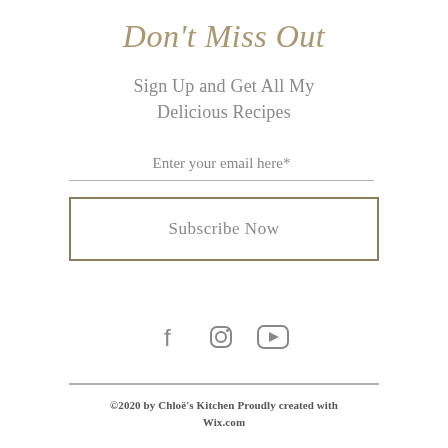Don't Miss Out
Sign Up and Get All My Delicious Recipes
Enter your email here*
Subscribe Now
[Figure (other): Social media icons: Facebook, Instagram, YouTube]
©2020 by Chloë's Kitchen Proudly created with Wix.com